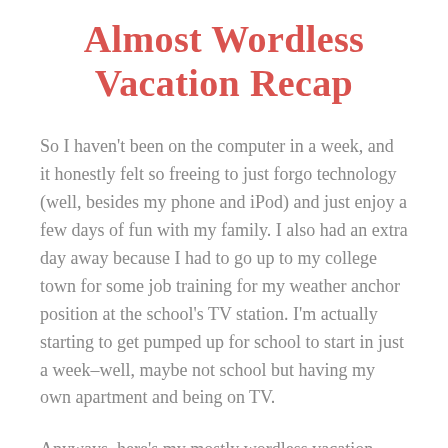Almost Wordless Vacation Recap
So I haven't been on the computer in a week, and it honestly felt so freeing to just forgo technology (well, besides my phone and iPod) and just enjoy a few days of fun with my family. I also had an extra day away because I had to go up to my college town for some job training for my weather anchor position at the school's TV station. I'm actually starting to get pumped up for school to start in just a week–well, maybe not school but having my own apartment and being on TV.
Anyways, here's my mostly wordless vacation recap of my trip to Estes Park, CO with some words at the